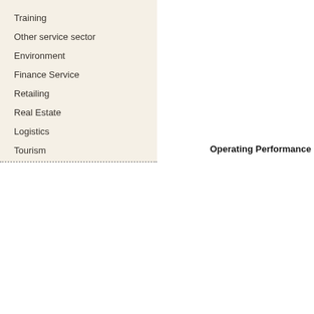Training
Other service sector
Environment
Finance Service
Retailing
Real Estate
Logistics
Tourism
Operating Performance